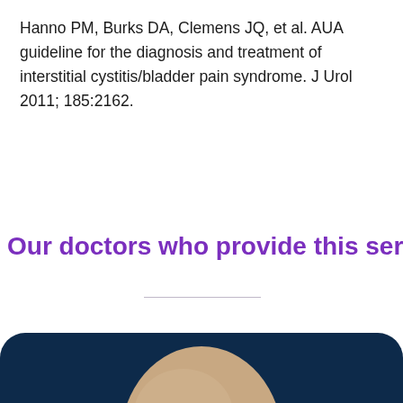Hanno PM, Burks DA, Clemens JQ, et al. AUA guideline for the diagnosis and treatment of interstitial cystitis/bladder pain syndrome. J Urol 2011; 185:2162.
Our doctors who provide this service
[Figure (photo): Partial photo of a bald man's head against a dark navy blue background, cropped to show only the top of the head.]